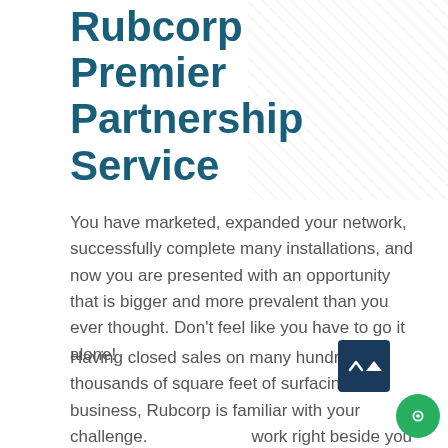Rubcorp Premier Partnership Service
You have marketed, expanded your network, successfully complete many installations, and now you are presented with an opportunity that is bigger and more prevalent than you ever thought. Don't feel like you have to go it alone!
Having closed sales on many hundreds of thousands of square feet of surfacing business, Rubcorp is familiar with your challenge. work right beside you from th... We will advise on communication,